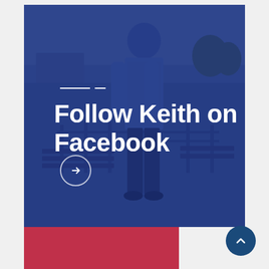[Figure (photo): A man standing outdoors near a railing and benches, wearing a blue checked shirt. The image has a dark blue overlay. Text overlay reads 'Follow Keith on Facebook' in bold white. Decorative white dashes appear above the text. A circular arrow button sits below the text.]
Follow Keith on Facebook